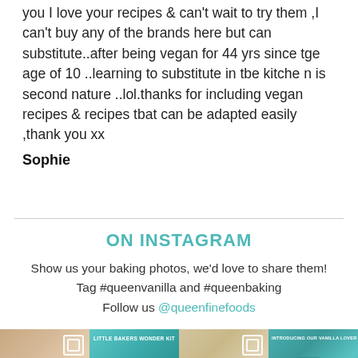you I love your recipes & can't wait to try them ,I can't buy any of the brands here but can substitute..after being vegan for 44 yrs since tge age of 10 ..learning to substitute in tbe kitche n is second nature ..lol.thanks for including vegan recipes & recipes tbat can be adapted easily ,thank you xx
Sophie
ON INSTAGRAM
Show us your baking photos, we'd love to share them!
Tag #queenvanilla and #queenbaking
Follow us @queenfinefoods
[Figure (photo): Four Instagram photo thumbnails showing baking products and food - dessert balls/truffles, teal product box video, bundt cake, and teal bag video]
Little Bakers Wonder Kit | Vanilla Lover Wonder Kit